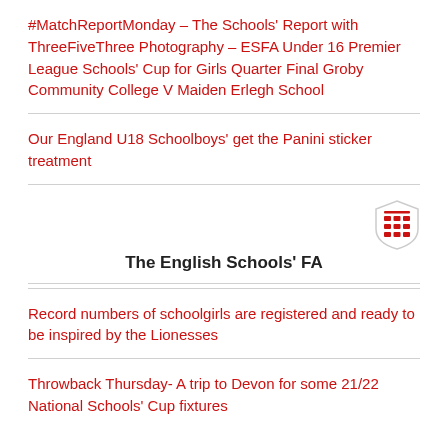#MatchReportMonday – The Schools' Report with ThreeFiveThree Photography – ESFA Under 16 Premier League Schools' Cup for Girls Quarter Final Groby Community College V Maiden Erlegh School
Our England U18 Schoolboys' get the Panini sticker treatment
[Figure (logo): The English Schools' FA shield/crest logo in red and white]
The English Schools' FA
Record numbers of schoolgirls are registered and ready to be inspired by the Lionesses
Throwback Thursday- A trip to Devon for some 21/22 National Schools' Cup fixtures